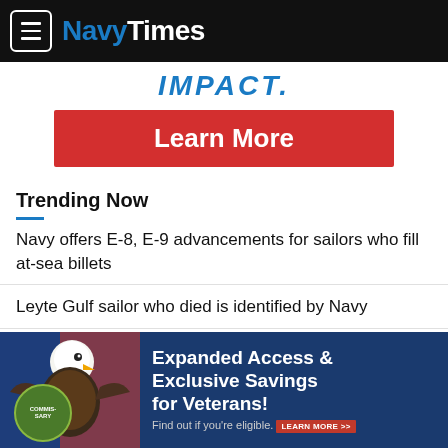NavyTimes
IMPACT.
[Figure (other): Red 'Learn More' call-to-action button]
Trending Now
Navy offers E-8, E-9 advancements for sailors who fill at-sea billets
Leyte Gulf sailor who died is identified by Navy
[Figure (other): Commissary advertisement banner showing bald eagle and text: Expanded Access & Exclusive Savings for Veterans! Find out if you're eligible. LEARN MORE >>]